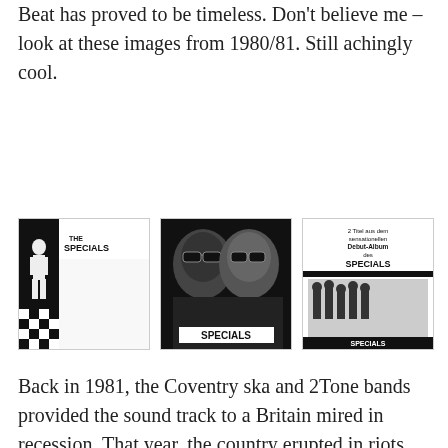Beat has proved to be timeless. Don't believe me – look at these images from 1980/81. Still achingly cool.
[Figure (photo): Three black and white album covers for The Specials: (1) The Specials debut album cover with checkerboard design and figure, (2) Close-up of two people wearing sunglasses with 'SPECIALS' text below, (3) German single sleeve with text '2 Titel aus dem sensationellen Debut-Album des Specials' and group photo.]
Back in 1981, the Coventry ska and 2Tone bands provided the sound track to a Britain mired in recession. That year, the country erupted in riots from London to Birmingham, Manchester to Liverpool. I remember seeing the aftermath of the turbulence in Manchester Moss Side